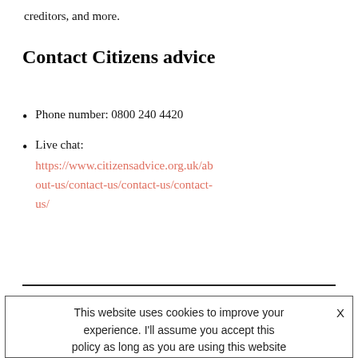creditors, and more.
Contact Citizens advice
Phone number: 0800 240 4420
Live chat: https://www.citizensadvice.org.uk/about-us/contact-us/contact-us/contact-us/
This website uses cookies to improve your experience. I'll assume you accept this policy as long as you are using this website